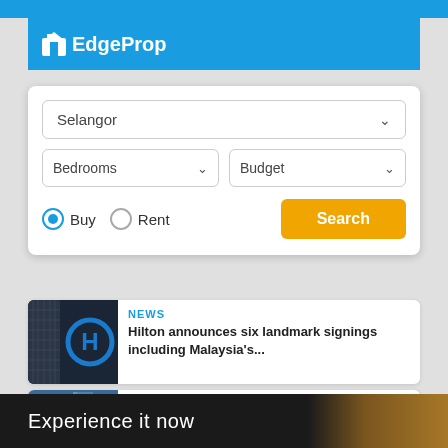[Figure (screenshot): EdgeProp mobile app header with blue background and logo]
[Figure (screenshot): Property search widget with Selangor dropdown, Bedrooms and Budget dropdowns, Buy/Rent radio buttons, and Search button]
[Figure (photo): Hilton hotel building with blue signage]
NEWS
Hilton announces six landmark signings including Malaysia's...
[Figure (photo): UOA Development glass tower buildings]
NEWS
UOA's 2Q net profit falls 17% to RM45 mil on lower property sales
Experience it now